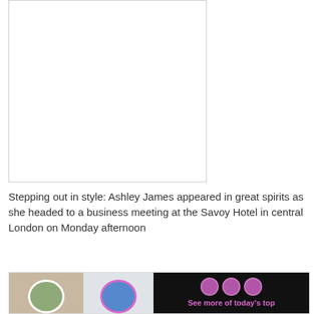[Figure (photo): Main article photo placeholder - white rectangle with border, showing empty/white space where a photo of Ashley James would appear]
Stepping out in style: Ashley James appeared in great spirits as she headed to a business meeting at the Savoy Hotel in central London on Monday afternoon
[Figure (infographic): Bottom widget showing two celebrity photos with circular overlays and dress thumbnails on left side, and dark right panel with pink circular icons and text 'See more of today's top']